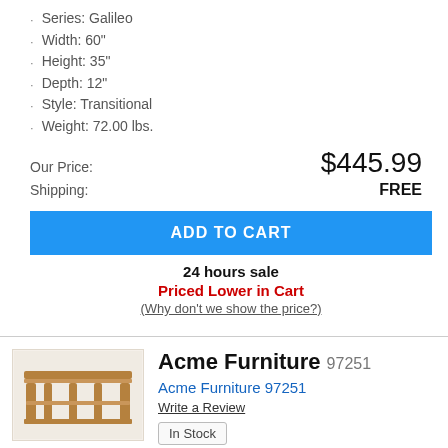Series: Galileo
Width: 60"
Height: 35"
Depth: 12"
Style: Transitional
Weight: 72.00 lbs.
Our Price: $445.99
Shipping: FREE
ADD TO CART
24 hours sale
Priced Lower in Cart
(Why don't we show the price?)
Acme Furniture 97251
Acme Furniture 97251
Write a Review
In Stock
Series: Garrison
Width: 72"
Height: 35"